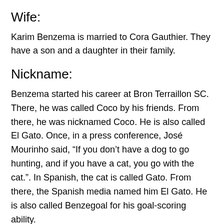Wife:
Karim Benzema is married to Cora Gauthier. They have a son and a daughter in their family.
Nickname:
Benzema started his career at Bron Terraillon SC. There, he was called Coco by his friends. From there, he was nicknamed Coco. He is also called El Gato. Once, in a press conference, José Mourinho said, “If you don’t have a dog to go hunting, and if you have a cat, you go with the cat.”. In Spanish, the cat is called Gato. From there, the Spanish media named him El Gato. He is also called Benzegoal for his goal-scoring ability.
Recent News About Karim Benzema: